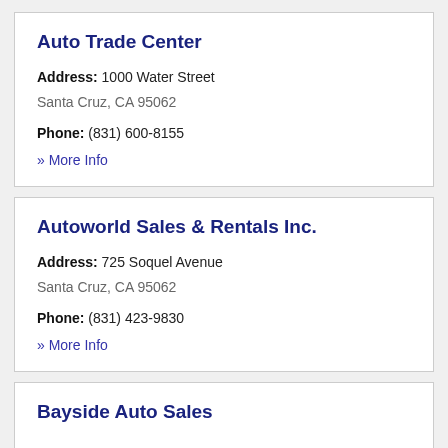Auto Trade Center
Address: 1000 Water Street
Santa Cruz, CA 95062
Phone: (831) 600-8155
» More Info
Autoworld Sales & Rentals Inc.
Address: 725 Soquel Avenue
Santa Cruz, CA 95062
Phone: (831) 423-9830
» More Info
Bayside Auto Sales